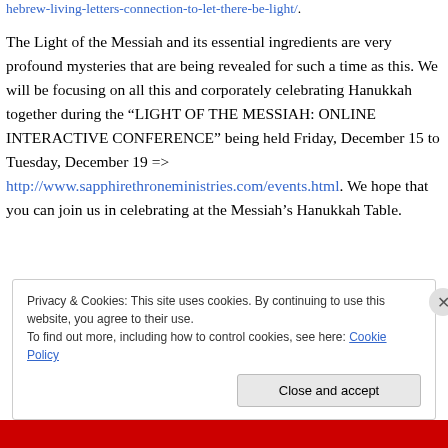hebrew-living-letters-connection-to-let-there-be-light/.
The Light of the Messiah and its essential ingredients are very profound mysteries that are being revealed for such a time as this. We will be focusing on all this and corporately celebrating Hanukkah together during the “LIGHT OF THE MESSIAH: ONLINE INTERACTIVE CONFERENCE” being held Friday, December 15 to Tuesday, December 19 => http://www.sapphirethroneministries.com/events.html. We hope that you can join us in celebrating at the Messiah’s Hanukkah Table.
Privacy & Cookies: This site uses cookies. By continuing to use this website, you agree to their use. To find out more, including how to control cookies, see here: Cookie Policy
Close and accept